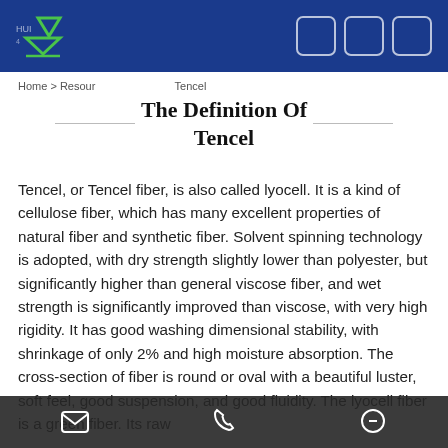Header navigation bar with logo and nav icons
Home > Resources > Tencel
The Definition Of Tencel
Tencel, or Tencel fiber, is also called lyocell. It is a kind of cellulose fiber, which has many excellent properties of natural fiber and synthetic fiber. Solvent spinning technology is adopted, with dry strength slightly lower than polyester, but significantly higher than general viscose fiber, and wet strength is significantly improved than viscose, with very high rigidity. It has good washing dimensional stability, with shrinkage of only 2% and high moisture absorption. The cross-section of fiber is round or oval with a beautiful luster, soft feel, good suspension, and good fluidity. The lyocell fiber is a green fiber. Its raw
Contact icons: email, phone, chat